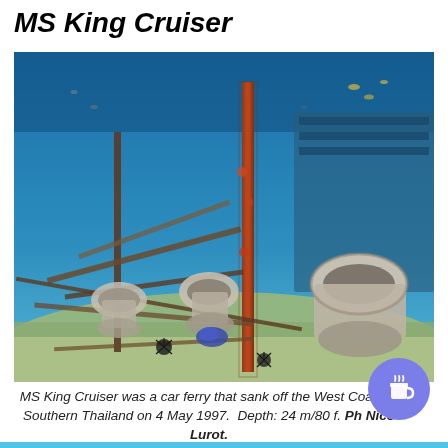MS King Cruiser
[Figure (photo): Underwater photograph of the MS King Cruiser shipwreck showing submerged toilet fixtures, rusted metal pipes and debris on the sandy seafloor with blue water and fish visible in the background.]
MS King Cruiser was a car ferry that sank off the West Coast of Southern Thailand on 4 May 1997. Depth: 24 m/80 f. Ph Nico Lurot.